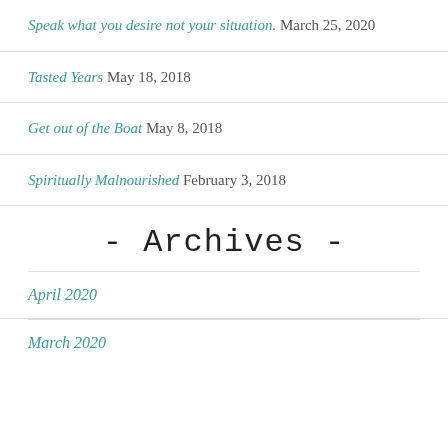Speak what you desire not your situation. March 25, 2020
Tasted Years May 18, 2018
Get out of the Boat May 8, 2018
Spiritually Malnourished February 3, 2018
- Archives -
April 2020
March 2020